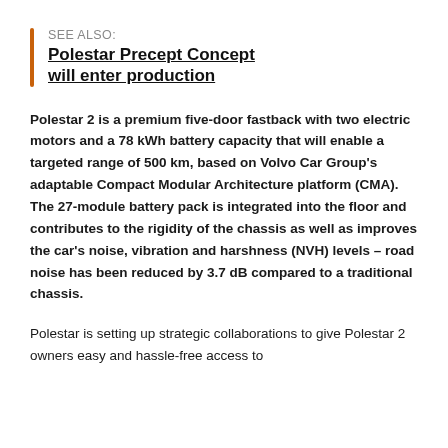SEE ALSO: Polestar Precept Concept will enter production
Polestar 2 is a premium five-door fastback with two electric motors and a 78 kWh battery capacity that will enable a targeted range of 500 km, based on Volvo Car Group's adaptable Compact Modular Architecture platform (CMA). The 27-module battery pack is integrated into the floor and contributes to the rigidity of the chassis as well as improves the car's noise, vibration and harshness (NVH) levels – road noise has been reduced by 3.7 dB compared to a traditional chassis.
Polestar is setting up strategic collaborations to give Polestar 2 owners easy and hassle-free access to